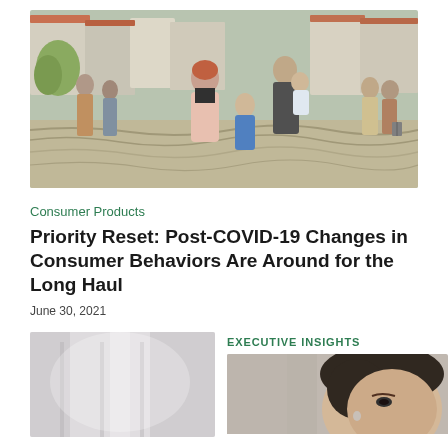[Figure (photo): A family — woman in pink jacket, man carrying a child, young girl — walking on a patterned tile plaza in a European city with other pedestrians and buildings in the background.]
Consumer Products
Priority Reset: Post-COVID-19 Changes in Consumer Behaviors Are Around for the Long Haul
June 30, 2021
[Figure (photo): Person looking through window, blurred/soft focus, grey tones.]
EXECUTIVE INSIGHTS
[Figure (photo): Close-up of a woman with dark hair pulled back, wearing earphones or earpiece, partial face visible.]